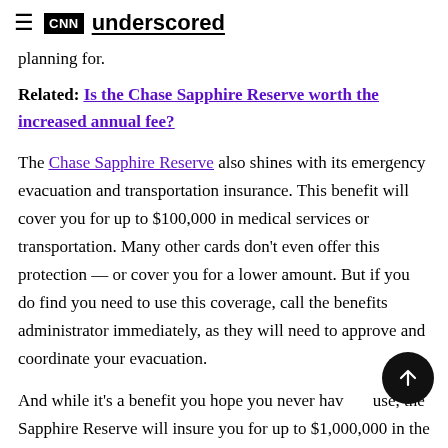CNN underscored
planning for.
Related: Is the Chase Sapphire Reserve worth the increased annual fee?
The Chase Sapphire Reserve also shines with its emergency evacuation and transportation insurance. This benefit will cover you for up to $100,000 in medical services or transportation. Many other cards don't even offer this protection — or cover you for a lower amount. But if you do find you need to use this coverage, call the benefits administrator immediately, as they will need to approve and coordinate your evacuation.
And while it's a benefit you hope you never have use, the Sapphire Reserve will insure you for up to $1,000,000 in the case of accidental death...